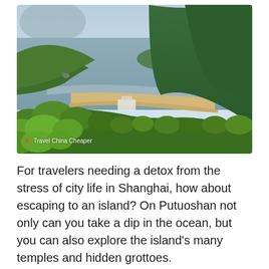[Figure (photo): Aerial view of Putuoshan island, China, showing green forested hills in the foreground with lush trees, a sandy beach curving along the coastline, calm grey-blue ocean water, distant islands and mountains in the hazy background, and white buildings nestled among the greenery. Watermark reads '© Travel China Cheaper'.]
For travelers needing a detox from the stress of city life in Shanghai, how about escaping to an island? On Putuoshan not only can you take a dip in the ocean, but you can also explore the island's many temples and hidden grottoes.